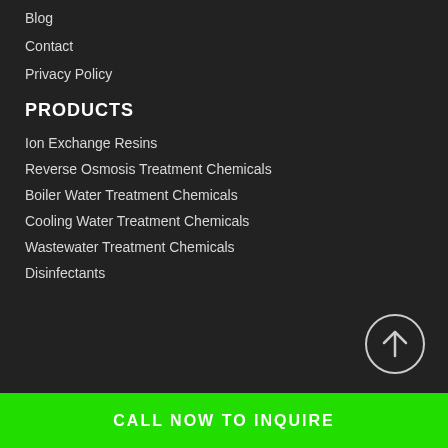Blog
Contact
Privacy Policy
PRODUCTS
Ion Exchange Resins
Reverse Osmosis Treatment Chemicals
Boiler Water Treatment Chemicals
Cooling Water Treatment Chemicals
Wastewater Treatment Chemicals
Disinfectants
[Figure (illustration): Circular scroll-to-top button with upward arrow icon]
CALL NOW TO INQUIRE